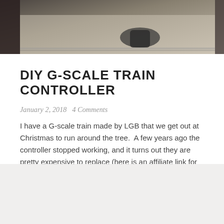[Figure (photo): Partial photo of a G-scale train controller setup on a table, showing train tracks and a controller device, top portion of the page]
DIY G-SCALE TRAIN CONTROLLER
January 2, 2018   4 Comments
I have a G-scale train made by LGB that we get out at Christmas to run around the tree.  A few years ago the controller stopped working, and it turns out they are pretty expensive to replace (here is an affiliate link for the control, there was also a power supply.)  This post shows how I . . .
Continue reading